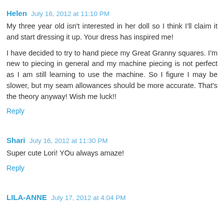Helen July 16, 2012 at 11:10 PM
My three year old isn't interested in her doll so I think I'll claim it and start dressing it up. Your dress has inspired me!
I have decided to try to hand piece my Great Granny squares. I'm new to piecing in general and my machine piecing is not perfect as I am still learning to use the machine. So I figure I may be slower, but my seam allowances should be more accurate. That's the theory anyway! Wish me luck!!
Reply
Shari July 16, 2012 at 11:30 PM
Super cute Lori! YOu always amaze!
Reply
LILA-ANNE July 17, 2012 at 4:04 PM